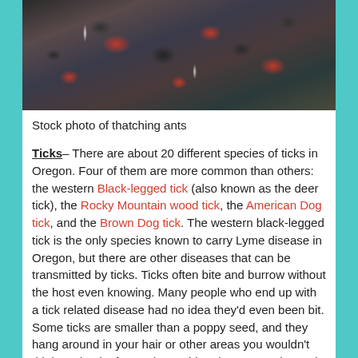[Figure (photo): Stock photo of thatching ants — a close-up mass of dark-bodied ants with reddish markings clustered together]
Stock photo of thatching ants
Ticks– There are about 20 different species of ticks in Oregon. Four of them are more common than others: the western Black-legged tick (also known as the deer tick), the Rocky Mountain wood tick, the American Dog tick, and the Brown Dog tick. The western black-legged tick is the only species known to carry Lyme disease in Oregon, but there are other diseases that can be transmitted by ticks. Ticks often bite and burrow without the host even knowing. Many people who end up with a tick related disease had no idea they'd even been bit. Some ticks are smaller than a poppy seed, and they hang around in your hair or other areas you wouldn't think to check after a trip outside. They're sneaky, and very good at what they do. Ticks love hanging out on